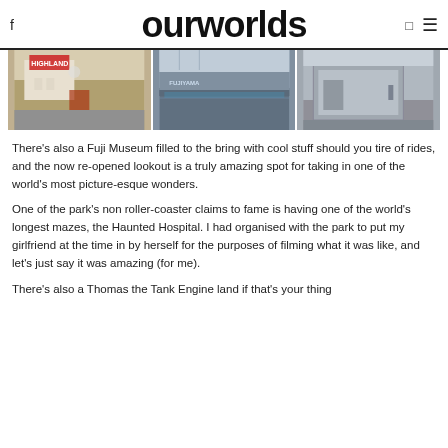ourworlds
[Figure (photo): Three photos side by side: left shows a Highland amusement park entrance with red signage, center shows a concrete wall with 'Fujiyama' text and water feature, right shows a concrete plaza exterior.]
There's also a Fuji Museum filled to the bring with cool stuff should you tire of rides, and the now re-opened lookout is a truly amazing spot for taking in one of the world's most picture-esque wonders.
One of the park's non roller-coaster claims to fame is having one of the world's longest mazes, the Haunted Hospital. I had organised with the park to put my girlfriend at the time in by herself for the purposes of filming what it was like, and let's just say it was amazing (for me).
There's also a Thomas the Tank Engine land if that's your thing